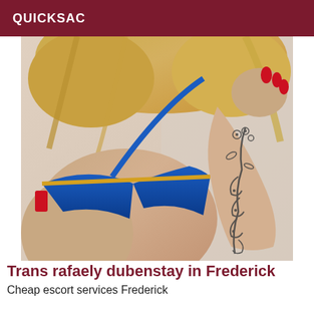QUICKSAC
[Figure (photo): Close-up photo of a person with blonde hair wearing a blue bra with yellow trim, showing a decorative tattoo of floral vines on their forearm/arm, with red nail polish visible.]
Trans rafaely dubenstay in Frederick
Cheap escort services Frederick